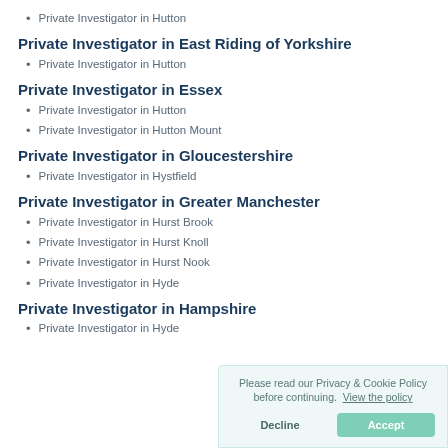Private Investigator in Hutton
Private Investigator in East Riding of Yorkshire
Private Investigator in Hutton
Private Investigator in Essex
Private Investigator in Hutton
Private Investigator in Hutton Mount
Private Investigator in Gloucestershire
Private Investigator in Hystfield
Private Investigator in Greater Manchester
Private Investigator in Hurst Brook
Private Investigator in Hurst Knoll
Private Investigator in Hurst Nook
Private Investigator in Hyde
Private Investigator in Hampshire
Private Investigator in Hyde